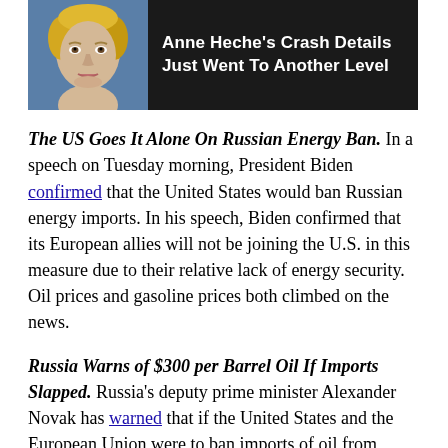[Figure (other): Advertisement overlay showing Anne Heche photo with dark background and headline text 'Anne Heche's Crash Details Just Went To Another Level']
draggin... Moreover... there is no sign of relief for the current oil price rally.
The US Goes It Alone On Russian Energy Ban. In a speech on Tuesday morning, President Biden confirmed that the United States would ban Russian energy imports. In his speech, Biden confirmed that its European allies will not be joining the U.S. in this measure due to their relative lack of energy security. Oil prices and gasoline prices both climbed on the news.
Russia Warns of $300 per Barrel Oil If Imports Slapped. Russia's deputy prime minister Alexander Novak has warned that if the United States and the European Union were to ban imports of oil from Russia, oil would move to $300 per barrel.
2021 Sees Record CO2 Emissions from Energy. According to the International Energy Agency, global